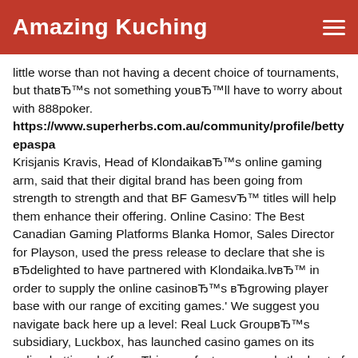Amazing Kuching
little worse than not having a decent choice of tournaments, but thatвЂ™s not something youвЂ™ll have to worry about with 888poker.
https://www.superherbs.com.au/community/profile/bettyepaspa
Krisjanis Kravis, Head of KlondaikавЂ™s online gaming arm, said that their digital brand has been going from strength to strength and that BF GamesvЂ™ titles will help them enhance their offering. Online Casino: The Best Canadian Gaming Platforms Blanka Homor, Sales Director for Playson, used the press release to declare that she is вЂdelighted to have partnered with Klondaika.lvвЂ™ in order to supply the online casinoвЂ™s вЂgrowing player base with our range of exciting games.' We suggest you navigate back here up a level: Real Luck GroupвЂ™s subsidiary, Luckbox, has launched casino games on its online betting platform. This new feature expands the host of LuckboxвЂ™s offerings, which until Its digital product features more than 500 casino titles from a host of leading providers as well as live casino content and a sportsbook.